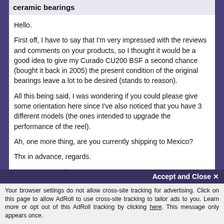ceramic bearings
Hello.

First off, I have to say that I'm very impressed with the reviews and comments on your products, so I thought it would be a good idea to give my Curado CU200 BSF a second chance (bought it back in 2005) the present condition of the original bearings leave a lot to be desired (stands to reason).

All this being said, I was wondering if you could please give some orientation here since I've also noticed that you have 3 different models (the ones intended to upgrade the performance of the reel).

Ah, one more thing, are you currently shipping to Mexico?

Thx in advance, regards.

Ernesto Coronado
Accept and Close ✕
Your browser settings do not allow cross-site tracking for advertising. Click on this page to allow AdRoll to use cross-site tracking to tailor ads to you. Learn more or opt out of this AdRoll tracking by clicking here. This message only appears once.